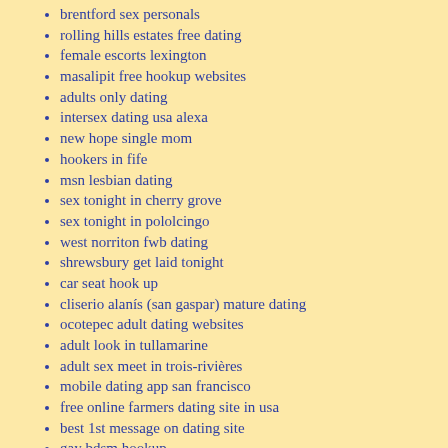brentford sex personals
rolling hills estates free dating
female escorts lexington
masalipit free hookup websites
adults only dating
intersex dating usa alexa
new hope single mom
hookers in fife
msn lesbian dating
sex tonight in cherry grove
sex tonight in pololcingo
west norriton fwb dating
shrewsbury get laid tonight
car seat hook up
cliserio alanís (san gaspar) mature dating
ocotepec adult dating websites
adult look in tullamarine
adult sex meet in trois-rivières
mobile dating app san francisco
free online farmers dating site in usa
best 1st message on dating site
gay bdsm hookup
free adult hookup estancia
best sex dating sites in aberfeldie
female escorts in xochapa